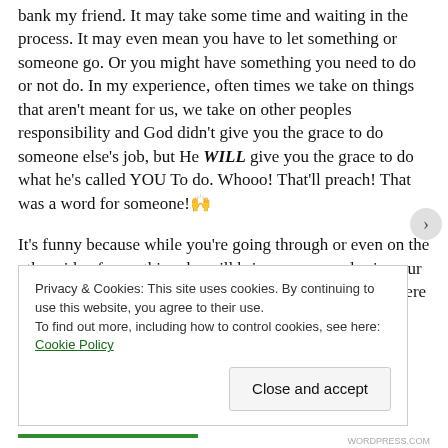bank my friend. It may take some time and waiting in the process. It may even mean you have to let something or someone go. Or you might have something you need to do or not do. In my experience, often times we take on things that aren't meant for us, we take on other peoples responsibility and God didn't give you the grace to do someone else's job, but He WILL give you the grace to do what he's called YOU To do. Whooo! That'll preach! That was a word for someone! 🙌

It's funny because while you're going through or even on the other side of something, he will bring someone else in your life that's going through a similar trial and because of where you are or where you've been you are able to encourage them and have empathy for them. But had you not been there, you
Privacy & Cookies: This site uses cookies. By continuing to use this website, you agree to their use.
To find out more, including how to control cookies, see here: Cookie Policy
Close and accept